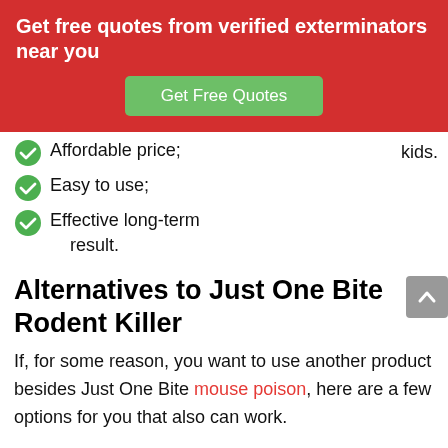Get free quotes from verified exterminators near you
Get Free Quotes
Affordable price;
kids.
Easy to use;
Effective long-term result.
Alternatives to Just One Bite Rodent Killer
If, for some reason, you want to use another product besides Just One Bite mouse poison, here are a few options for you that also can work.